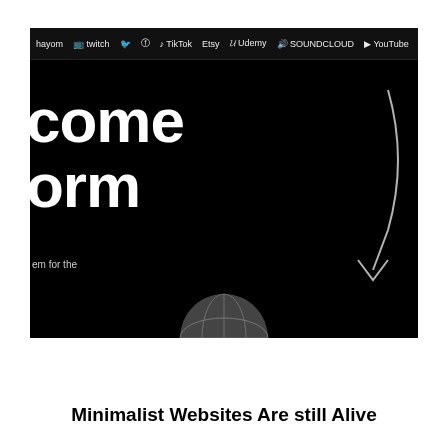[Figure (screenshot): Screenshot of a dark/black minimalist website showing social media platform navigation bar at top (Twitch, Twitter, Facebook, TikTok, Etsy, Udemy, SoundCloud, YouTube, Instagram icons), large white bold text reading 'come' and 'orm' (form, partially cropped), a curved downward arrow on the right, small subtext 'em for the' at bottom left, and a partial globe/earth image at bottom center.]
Minimalist Websites Are still Alive